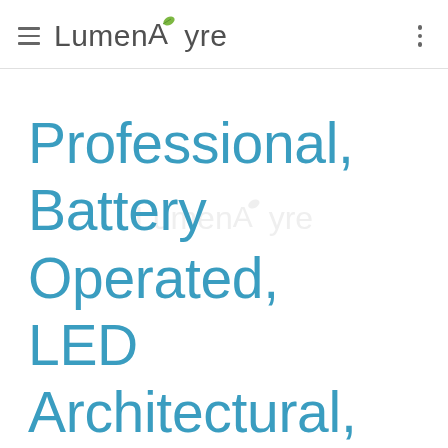Lumenayre
Professional, Battery Operated, LED Architectural, Stage, and Entertainment Lighting